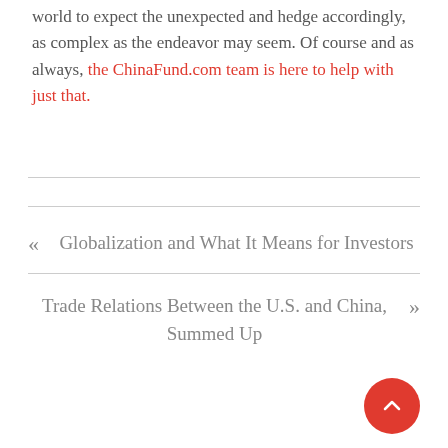world to expect the unexpected and hedge accordingly, as complex as the endeavor may seem. Of course and as always, the ChinaFund.com team is here to help with just that.
« Globalization and What It Means for Investors
Trade Relations Between the U.S. and China, Summed Up »